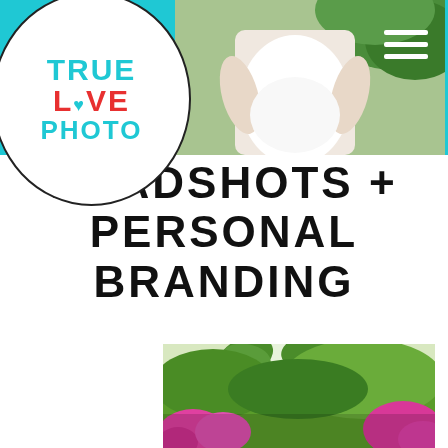[Figure (logo): True Love Photo logo in white circular bubble with cyan and red text]
[Figure (photo): Close-up photograph of a pregnant woman in a white top, hands on belly, outdoor green background]
HEADSHOTS + PERSONAL BRANDING
[Figure (photo): Outdoor garden scene with palm trees, green foliage, and bright pink flowers in foreground]